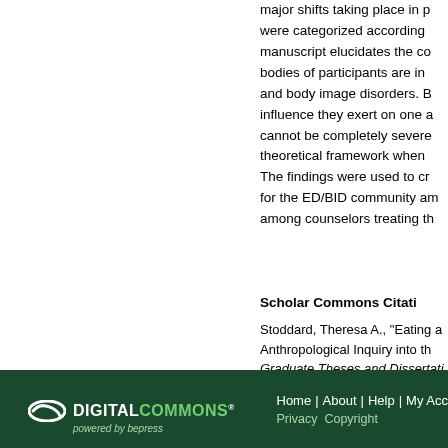major shifts taking place in p were categorized according manuscript elucidates the co bodies of participants are in and body image disorders. B influence they exert on one a cannot be completely severe theoretical framework when The findings were used to cr for the ED/BID community am among counselors treating th
Scholar Commons Citati
Stoddard, Theresa A., "Eating a Anthropological Inquiry into th Graduate Theses and Dissertati https://digitalcommons.usf.ed
[Figure (logo): Digital Commons powered by bepress logo — white oval swoosh icon with DIGITALCOMMONS in white/green text on dark green background]
Home | About | Help | My Acc Privacy Copyright